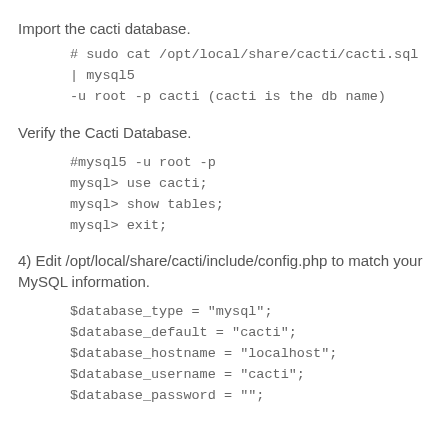Import the cacti database.
# sudo cat /opt/local/share/cacti/cacti.sql | mysql5 -u root -p cacti (cacti is the db name)
Verify the Cacti Database.
#mysql5 -u root -p
mysql> use cacti;
mysql> show tables;
mysql> exit;
4) Edit /opt/local/share/cacti/include/config.php to match your MySQL information.
$database_type = "mysql";
$database_default = "cacti";
$database_hostname = "localhost";
$database_username = "cacti";
$database_password = "";